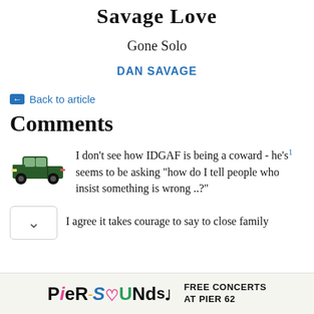Savage Love
Gone Solo
DAN SAVAGE
← Back to article
Comments
I don't see how IDGAF is being a coward - he's1 seems to be asking "how do I tell people who insist something is wrong ..?"
I agree it takes courage to say to close family
[Figure (logo): Pier Sounds logo with colorful letters and FREE CONCERTS AT PIER 62 text]